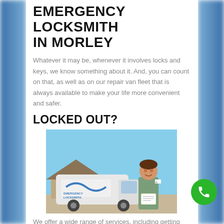EMERGENCY LOCKSMITH IN MORLEY
Whatever it may be, whenever it involves locks and keys, we know something about it. And, you can count on that, as well as on our repair van fleet that is always available to make your life more convenient and safer.
LOCKED OUT?
[Figure (photo): A locksmith technician in a green uniform standing in front of a white Emergency Locksmith van, holding a clipboard and smiling.]
We offer a wide range of services, including getting the door